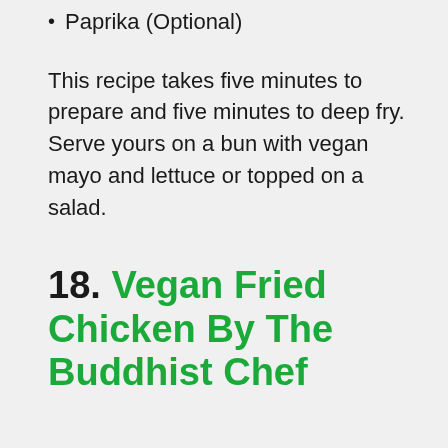Paprika (Optional)
This recipe takes five minutes to prepare and five minutes to deep fry. Serve yours on a bun with vegan mayo and lettuce or topped on a salad.
18. Vegan Fried Chicken By The Buddhist Chef